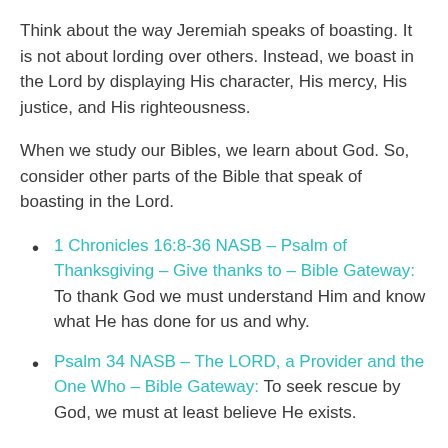Think about the way Jeremiah speaks of boasting. It is not about lording over others. Instead, we boast in the Lord by displaying His character, His mercy, His justice, and His righteousness.
When we study our Bibles, we learn about God. So, consider other parts of the Bible that speak of boasting in the Lord.
1 Chronicles 16:8-36 NASB – Psalm of Thanksgiving – Give thanks to – Bible Gateway: To thank God we must understand Him and know what He has done for us and why.
Psalm 34 NASB – The LORD, a Provider and the One Who – Bible Gateway: To seek rescue by God, we must at least believe He exists.